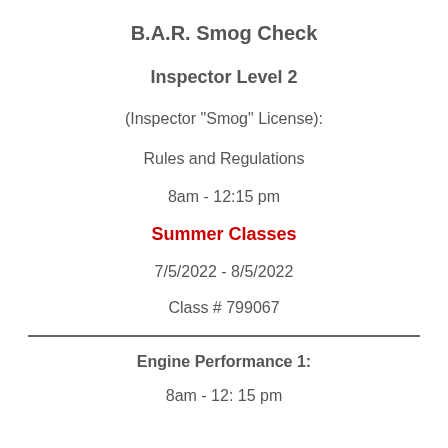B.A.R. Smog Check
Inspector Level 2
(Inspector "Smog" License):
Rules and Regulations
8am - 12:15 pm
Summer Classes
7/5/2022 - 8/5/2022
Class # 799067
Engine Performance 1:
8am - 12: 15 pm